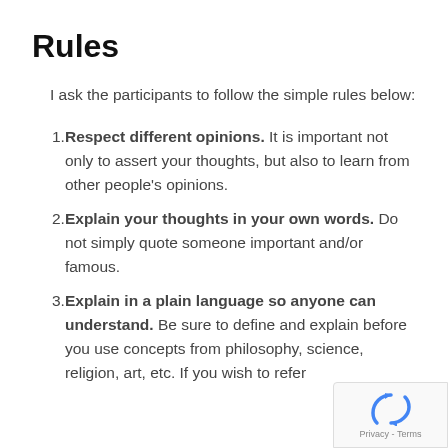Rules
I ask the participants to follow the simple rules below:
Respect different opinions. It is important not only to assert your thoughts, but also to learn from other people's opinions.
Explain your thoughts in your own words. Do not simply quote someone important and/or famous.
Explain in a plain language so anyone can understand. Be sure to define and explain before you use concepts from philosophy, science, religion, art, etc. If you wish to refer
[Figure (logo): reCAPTCHA logo and Privacy - Terms text overlay in bottom right corner]